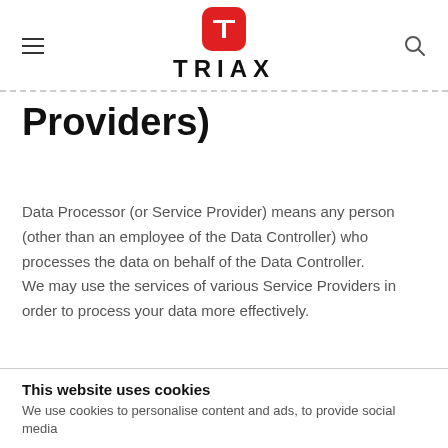TRIAX
Providers)
Data Processor (or Service Provider) means any person (other than an employee of the Data Controller) who processes the data on behalf of the Data Controller. We may use the services of various Service Providers in order to process your data more effectively.
This website uses cookies
We use cookies to personalise content and ads, to provide social media